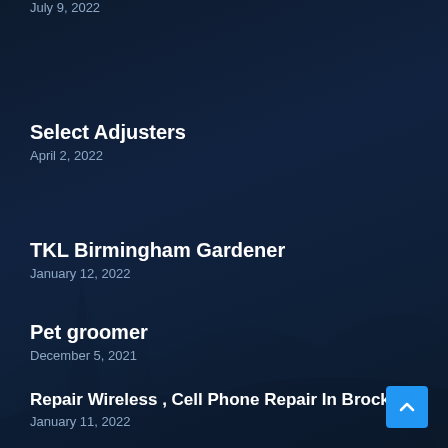July 9, 2022
Select Adjusters
April 2, 2022
TKL Birmingham Gardener
January 12, 2022
Pet groomer
December 5, 2021
Repair Wireless , Cell Phone Repair In Brockton
January 11, 2022
Roofers of Rome, LLC
December 21, 2021